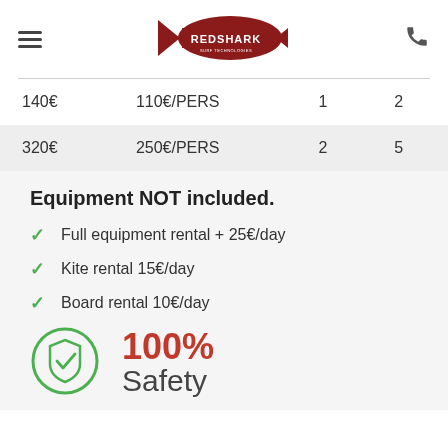[Figure (logo): RedShark surf logo with shark silhouette in dark red]
| 140€ | 110€/PERS | 1 | 2 |
| 320€ | 250€/PERS | 2 | 5 |
Equipment NOT included.
Full equipment rental + 25€/day
Kite rental 15€/day
Board rental 10€/day
[Figure (illustration): Green circle with shield and checkmark icon]
100% Safety